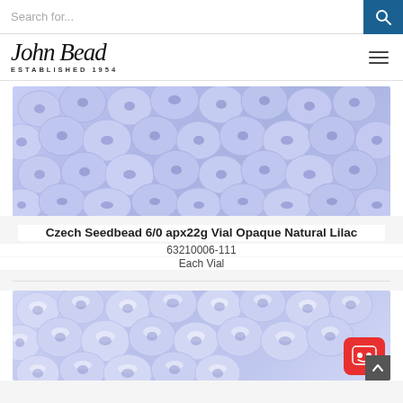Search for...
[Figure (logo): John Bead logo with cursive script and 'ESTABLISHED 1954' text beneath]
[Figure (photo): Close-up photo of light lavender/lilac opaque Czech glass seed beads size 6/0, showing many round beads clustered together]
Czech Seedbead 6/0 apx22g Vial Opaque Natural Lilac
63210006-111
Each Vial
[Figure (photo): Close-up photo of light lavender/lilac lustered Czech glass seed beads size 6/0, slightly shinier than the first image, with a chatbot icon overlay]